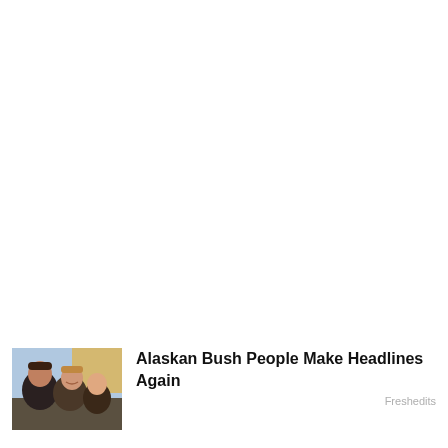[Figure (photo): Thumbnail photo of Alaskan Bush People — group of people smiling outdoors]
Alaskan Bush People Make Headlines Again
Freshedits